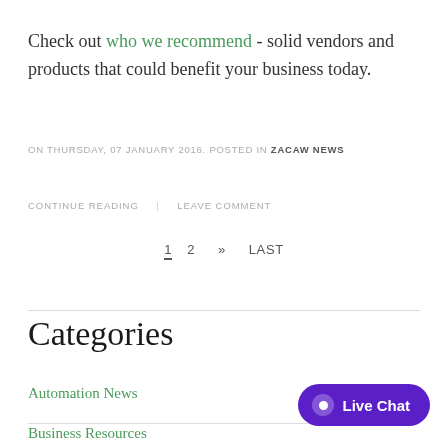Check out who we recommend - solid vendors and products that could benefit your business today.
ON THURSDAY, 07 JANUARY 2016. POSTED IN ZACAW NEWS
CONTINUE READING | LEAVE COMMENT
1  2  »  LAST
Categories
Automation News
Business Resources